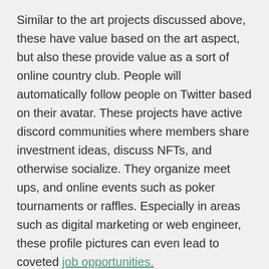Similar to the art projects discussed above, these have value based on the art aspect, but also these provide value as a sort of online country club. People will automatically follow people on Twitter based on their avatar. These projects have active discord communities where members share investment ideas, discuss NFTs, and otherwise socialize. They organize meet ups, and online events such as poker tournaments or raffles. Especially in areas such as digital marketing or web engineer, these profile pictures can even lead to coveted job opportunities.
For every NFT avatar project which succeeds, there are 10 that fail. This is largely due to a combination of the strength of the community, the marketing/organizational skills of the founders, and luck or being at the right